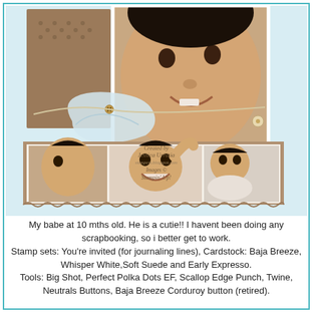[Figure (photo): Scrapbook layout featuring a baby at 10 months old. Top portion shows a close-up of the baby's smiling face against a light blue background with brown polka dot paper and a decorative baby onesie embellishment with buttons and twine. Bottom strip shows three photos of the baby: profile view, laughing with arm raised, and crawling. A handwritten-style text stamp reads 'Created by Jessica Urrutia, stampers.blogspot.com, Images © Stampin' Up!']
My babe at 10 mths old. He is a cutie!! I havent been doing any scrapbooking, so i better get to work.
Stamp sets: You're invited (for journaling lines), Cardstock: Baja Breeze, Whisper White,Soft Suede and Early Expresso.
Tools: Big Shot, Perfect Polka Dots EF, Scallop Edge Punch, Twine, Neutrals Buttons, Baja Breeze Corduroy button (retired).